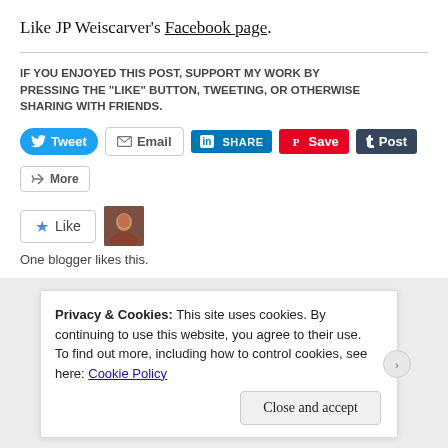Like JP Weiscarver's Facebook page.
IF YOU ENJOYED THIS POST, SUPPORT MY WORK BY PRESSING THE “LIKE” BUTTON, TWEETING, OR OTHERWISE SHARING WITH FRIENDS.
[Figure (screenshot): Social sharing buttons: Tweet, Email, SHARE (LinkedIn), Save (Pinterest), Post (Tumblr), More]
[Figure (screenshot): Like button and blogger avatar thumbnail]
One blogger likes this.
Privacy & Cookies: This site uses cookies. By continuing to use this website, you agree to their use.
To find out more, including how to control cookies, see here: Cookie Policy
Close and accept